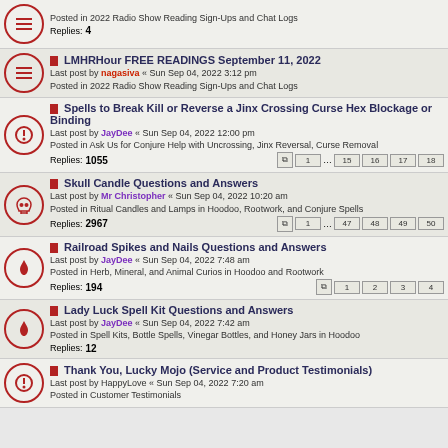Posted in 2022 Radio Show Reading Sign-Ups and Chat Logs
Replies: 4
LMHRHour FREE READINGS September 11, 2022
Last post by nagasiva « Sun Sep 04, 2022 3:12 pm
Posted in 2022 Radio Show Reading Sign-Ups and Chat Logs
Spells to Break Kill or Reverse a Jinx Crossing Curse Hex Blockage or Binding
Last post by JayDee « Sun Sep 04, 2022 12:00 pm
Posted in Ask Us for Conjure Help with Uncrossing, Jinx Reversal, Curse Removal
Replies: 1055 | Pages: 1 ... 15 16 17 18
Skull Candle Questions and Answers
Last post by Mr Christopher « Sun Sep 04, 2022 10:20 am
Posted in Ritual Candles and Lamps in Hoodoo, Rootwork, and Conjure Spells
Replies: 2967 | Pages: 1 ... 47 48 49 50
Railroad Spikes and Nails Questions and Answers
Last post by JayDee « Sun Sep 04, 2022 7:48 am
Posted in Herb, Mineral, and Animal Curios in Hoodoo and Rootwork
Replies: 194 | Pages: 1 2 3 4
Lady Luck Spell Kit Questions and Answers
Last post by JayDee « Sun Sep 04, 2022 7:42 am
Posted in Spell Kits, Bottle Spells, Vinegar Bottles, and Honey Jars in Hoodoo
Replies: 12
Thank You, Lucky Mojo (Service and Product Testimonials)
Last post by HappyLove « Sun Sep 04, 2022 7:20 am
Posted in Customer Testimonials